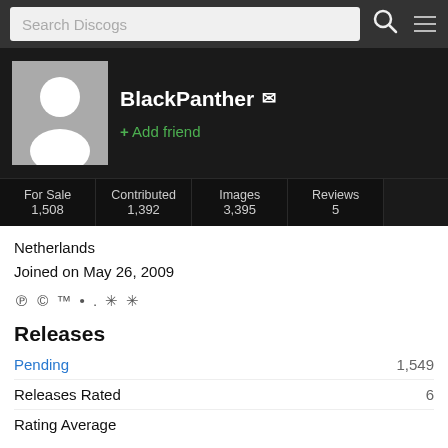Search Discogs
BlackPanther
+ Add friend
| For Sale | Contributed | Images | Reviews |  |
| --- | --- | --- | --- | --- |
| 1,508 | 1,392 | 3,395 | 5 |  |
Netherlands
Joined on May 26, 2009
℗ © ™ • . ✳ ✳
Releases
Pending  1,549
Releases Rated  6
Rating Average